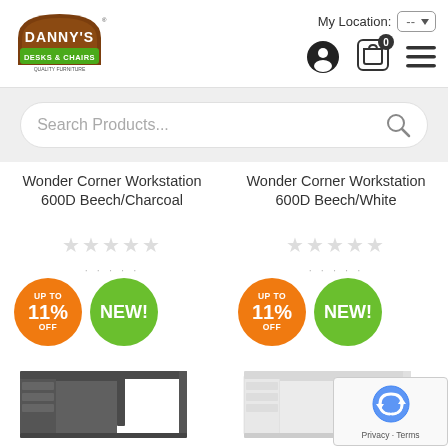[Figure (logo): Danny's Desks and Chairs logo — brown arch with white text 'DANNY'S' and green banner reading 'DESKS and CHAIRS']
My Location: --
[Figure (screenshot): Search bar with placeholder text 'Search Products...' and search icon]
Wonder Corner Workstation 600D Beech/Charcoal
Wonder Corner Workstation 600D Beech/White
[Figure (infographic): Orange badge: UP TO 11% OFF, Green badge: NEW!]
[Figure (infographic): Orange badge: UP TO 11% OFF, Green badge: NEW!]
[Figure (photo): Corner workstation desk in charcoal/dark grey color]
[Figure (photo): Corner workstation desk in white color]
[Figure (other): reCAPTCHA widget with robot icon and Privacy/Terms links]